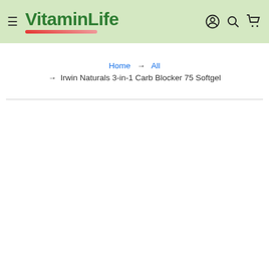VitaminLife
Home → All → Irwin Naturals 3-in-1 Carb Blocker 75 Softgel